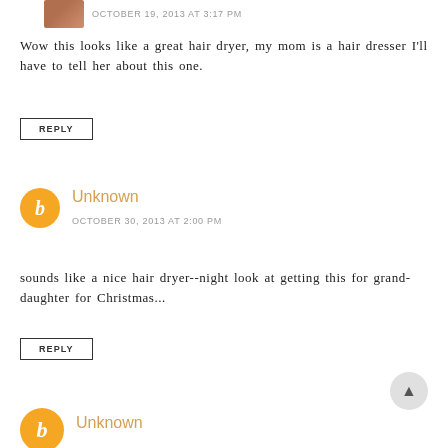OCTOBER 19, 2013 AT 3:17 PM
Wow this looks like a great hair dryer, my mom is a hair dresser I'll have to tell her about this one.
REPLY
Unknown
OCTOBER 30, 2013 AT 2:00 PM
sounds like a nice hair dryer--night look at getting this for grand-daughter for Christmas...
REPLY
Unknown